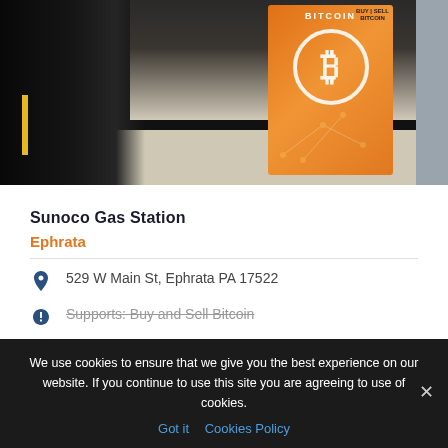[Figure (photo): Photo of a Bitcoin ATM kiosk (orange box with Bitcoin logo) inside what appears to be a Sunoco gas station convenience store. A person in dark clothing is visible on the left side.]
Sunoco Gas Station
Ephrata
529 W Main St, Ephrata PA 17522
Supports: Buy and Sell Bitcoin
We use cookies to ensure that we give you the best experience on our website. If you continue to use this site you are agreeing to use of cookies.
Got it  Cookies Policy